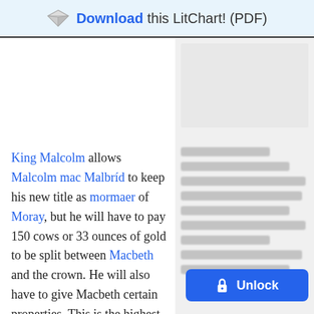Download this LitChart! (PDF)
King Malcolm allows Malcolm mac Malbríd to keep his new title as mormaer of Moray, but he will have to pay 150 cows or 33 ounces of gold to be split between Macbeth and the crown. He will also have to give Macbeth certain properties. This is the highest possible fine, but
[Figure (screenshot): Blurred/locked right column content with an Unlock button overlay]